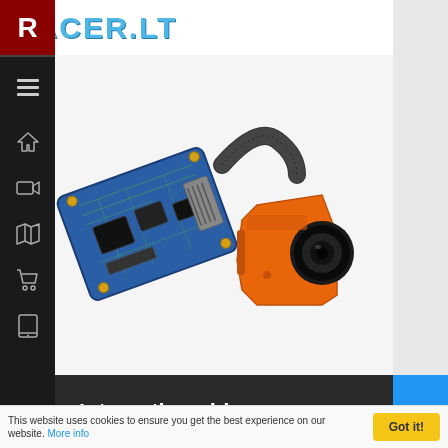[Figure (logo): RACER.LT website logo with large cyan/blue grunge-style text on white header bar, with dark red R icon on left sidebar]
[Figure (photo): RunCam FPV camera (orange body with black lens) connected to a blue circuit board via flat ribbon cable, on light gray background]
Interesting video
This website uses cookies to ensure you get the best experience on our website. More info